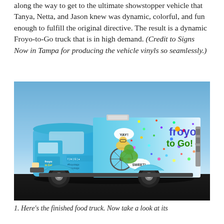along the way to get to the ultimate showstopper vehicle that Tanya, Netta, and Jason knew was dynamic, colorful, and fun enough to fulfill the original directive. The result is a dynamic Froyo-to-Go truck that is in high demand. (Credit to Signs Now in Tampa for producing the vehicle vinyls so seamlessly.)
[Figure (photo): Side view of the Froyo-to-Go food truck with colorful vinyl wrap. The truck is light blue with cartoon characters, a bicycle, confetti, and the 'froyo to Go!' logo on the side panel. Social media handles visible on the cab door.]
1. Here's the finished food truck. Now take a look at its